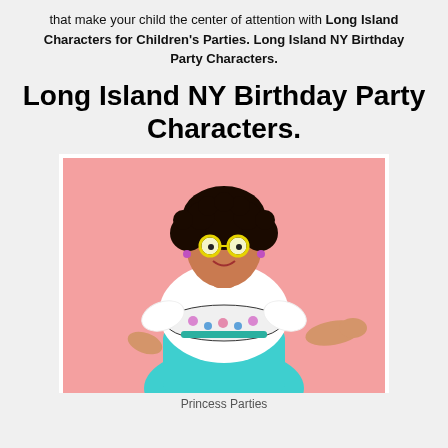that make your child the center of attention with Long Island Characters for Children's Parties. Long Island NY Birthday Party Characters.
Long Island NY Birthday Party Characters.
[Figure (photo): A woman dressed as a princess character wearing yellow round glasses, dark curly hair, a white embroidered blouse with floral designs, and a teal skirt, posing against a pink background.]
Princess Parties